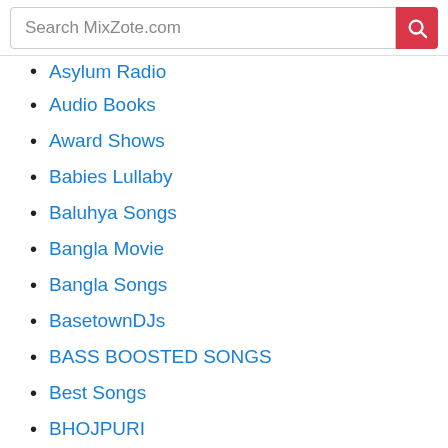Search MixZote.com
Asylum Radio
Audio Books
Award Shows
Babies Lullaby
Baluhya Songs
Bangla Movie
Bangla Songs
BasetownDJs
BASS BOOSTED SONGS
Best Songs
BHOJPURI
Bible Stories
Bible Verses
Bikini Model Fitness
Biotic Dub...